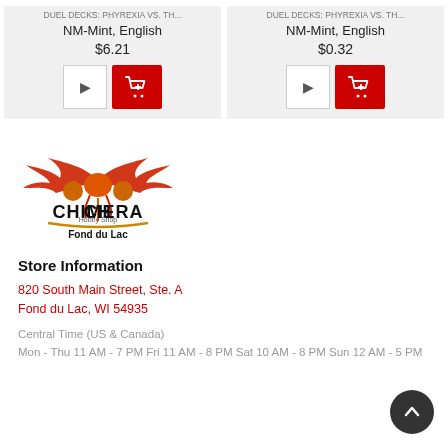DUEL DECKS: PHYREXIA VS. TH... NM-Mint, English $6.21
DUEL DECKS: PHYREXIA VS. TH... NM-Mint, English $0.32
[Figure (logo): Chimera Hobby Shop - Fond du Lac logo with phoenix/dragon illustration in red and orange above stylized text]
Store Information
820 South Main Street, Ste. A
Fond du Lac, WI 54935
Central Time (US & Canada)
Mon - Thu 11 AM - 7 PM Fri 11 AM - 8 PM Sat 10 AM - 8 PM Sun 12 AM - 5 PM